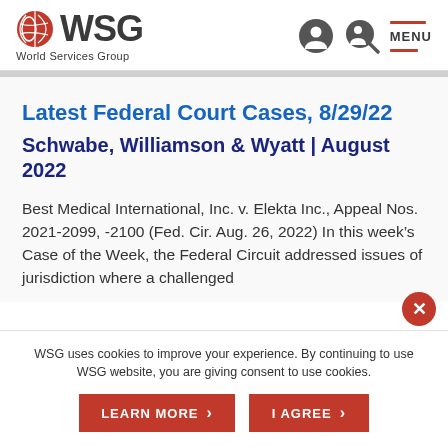WSG World Services Group — navigation header with logo and menu
Latest Federal Court Cases, 8/29/22
Schwabe, Williamson & Wyatt | August 2022
Best Medical International, Inc. v. Elekta Inc., Appeal Nos. 2021-2099, -2100 (Fed. Cir. Aug. 26, 2022) In this week's Case of the Week, the Federal Circuit addressed issues of jurisdiction where a challenged
WSG uses cookies to improve your experience. By continuing to use WSG website, you are giving consent to use cookies.
LEARN MORE  ›    I AGREE  ›